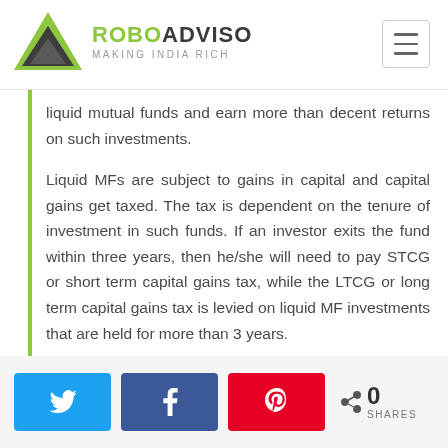[Figure (logo): RoboAdviso logo with green triangle icon, green 'ROBO' and dark 'ADVISO' text, tagline 'MAKING INDIA RICH']
liquid mutual funds and earn more than decent returns on such investments.
Liquid MFs are subject to gains in capital and capital gains get taxed. The tax is dependent on the tenure of investment in such funds. If an investor exits the fund within three years, then he/she will need to pay STCG or short term capital gains tax, while the LTCG or long term capital gains tax is levied on liquid MF investments that are held for more than 3 years.
[Figure (infographic): Social share buttons: Twitter (blue), Facebook (dark blue), Pinterest (red), and a share count showing 0 SHARES]